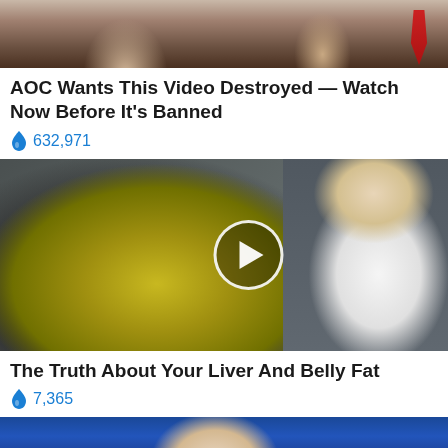[Figure (photo): Cropped photo showing two people, one with blonde hair and another with a red tie, dark background — top portion of article thumbnail]
AOC Wants This Video Destroyed — Watch Now Before It's Banned
🔥 632,971
[Figure (photo): Video thumbnail showing a spoon with yellow/green liquid (olive oil) and a woman in a white lab coat smiling, with a play button overlay]
The Truth About Your Liver And Belly Fat
🔥 7,365
[Figure (photo): Partially visible thumbnail of a person against a blue background — bottom edge of page]